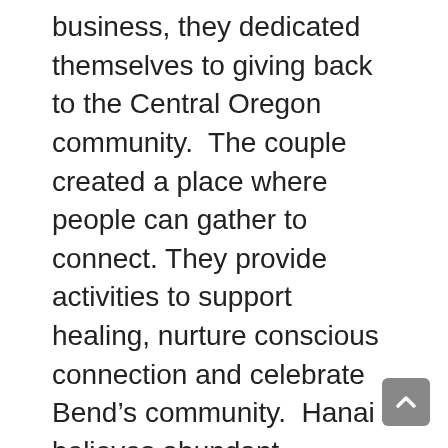business, they dedicated themselves to giving back to the Central Oregon community.  The couple created a place where people can gather to connect. They provide activities to support healing, nurture conscious connection and celebrate Bend's community.  Hanai believes abundant communities evolve from building meaningful relationships in welcoming spaces.
“Hanai is a Hawaiian word that is often translated as ‘to nurture’.  Our vision is to become a community hub. A place where individuals can